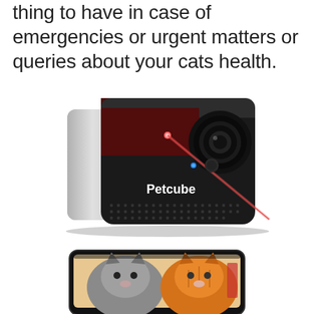thing to have in case of emergencies or urgent matters or queries about your cats health.
[Figure (photo): Petcube pet camera device - a dark grey cube-shaped camera with a laser pointer emitting a red beam, a camera lens on the right side, a blue LED indicator, speaker grille at the bottom, and the Petcube logo in white text. The device has a silver/white left side panel.]
[Figure (photo): Smartphone showing two cats on the screen - a grey/dark cat on the left and an orange tabby cat on the right, viewed through the Petcube app.]